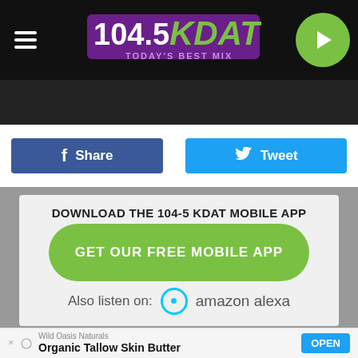[Figure (screenshot): 104.5 KDAT radio station header logo with purple and green branding and 'TODAY'S BEST MIX' tagline]
LISTEN NOW  COURTLIN
[Figure (screenshot): Facebook Share button (blue) and Twitter Tweet button (blue)]
DOWNLOAD THE 104-5 KDAT MOBILE APP
GET OUR FREE MOBILE APP
Also listen on:  amazon alexa
Wild Oasis Naturals  Organic Tallow Skin Butter  OPEN